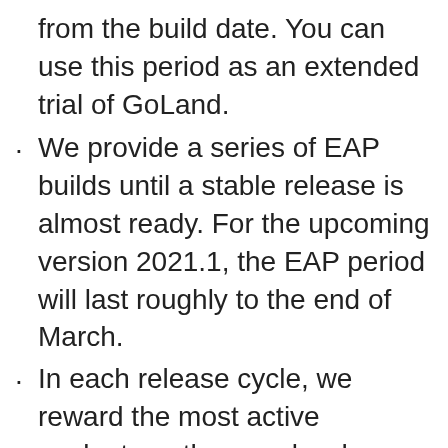from the build date. You can use this period as an extended trial of GoLand.
We provide a series of EAP builds until a stable release is almost ready. For the upcoming version 2021.1, the EAP period will last roughly to the end of March.
In each release cycle, we reward the most active evaluators, the people who helped us make GoLand better by sharing their product experience, feedback, and suggestions with us, with a free 1-year GoLand subscription.
Fresh builds come out almost every day. If you don't want to wait for the official EAP build announcements, you can